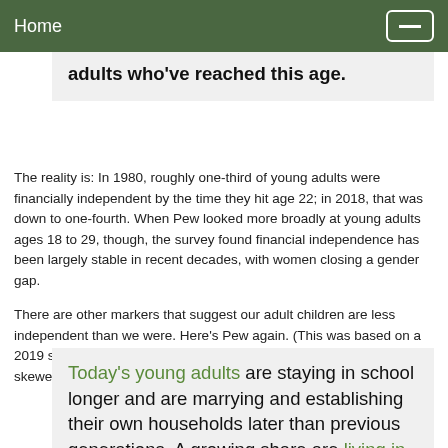Home
adults who've reached this age.
The reality is: In 1980, roughly one-third of young adults were financially independent by the time they hit age 22; in 2018, that was down to one-fourth. When Pew looked more broadly at young adults ages 18 to 29, though, the survey found financial independence has been largely stable in recent decades, with women closing a gender gap.
There are other markers that suggest our adult children are less independent than we were. Here's Pew again. (This was based on a 2019 survey in those halcyon pre-pandemic days; Covid-19 has likely skewed a lot of the numbers and not in a positive direction):
Today's young adults are staying in school longer and are marrying and establishing their own households later than previous generations. A growing share are living in their